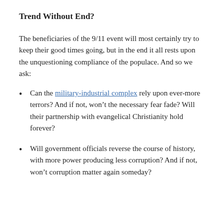Trend Without End?
The beneficiaries of the 9/11 event will most certainly try to keep their good times going, but in the end it all rests upon the unquestioning compliance of the populace. And so we ask:
Can the military-industrial complex rely upon ever-more terrors? And if not, won't the necessary fear fade? Will their partnership with evangelical Christianity hold forever?
Will government officials reverse the course of history, with more power producing less corruption? And if not, won't corruption matter again someday?